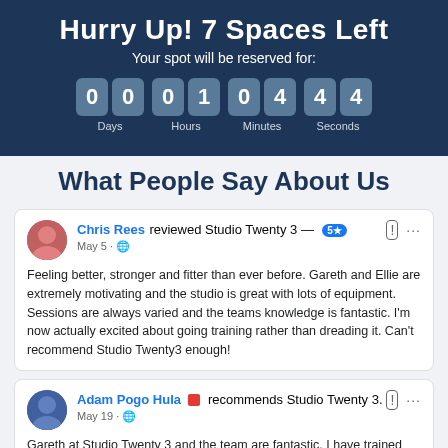Hurry Up! 7 Spaces Left
Your spot will be reserved for:
00 Days  01 Hours  04 Minutes  44 Seconds
What People Say About Us
Chris Rees reviewed Studio Twenty 3 — 5+ May 5 · Feeling better, stronger and fitter than ever before. Gareth and Ellie are extremely motivating and the studio is great with lots of equipment. Sessions are always varied and the teams knowledge is fantastic. I'm now actually excited about going training rather than dreading it. Can't recommend Studio Twenty3 enough!
Adam Pogo Hula recommends Studio Twenty 3. May 19 · Gareth at Studio Twenty 3 and the team are fantastic. I have trained with them a few times in the past and due to moving area had to stop. However, I have